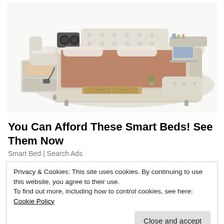[Figure (photo): A luxurious smart bed with multiple features including storage drawers, massage chair, speakers, and a laptop holder, shown in cream/beige color with an L-shaped modular layout]
You Can Afford These Smart Beds! See Them Now
Smart Bed | Search Ads
Privacy & Cookies: This site uses cookies. By continuing to use this website, you agree to their use.
To find out more, including how to control cookies, see here: Cookie Policy
Close and accept
40 bloggers like this.